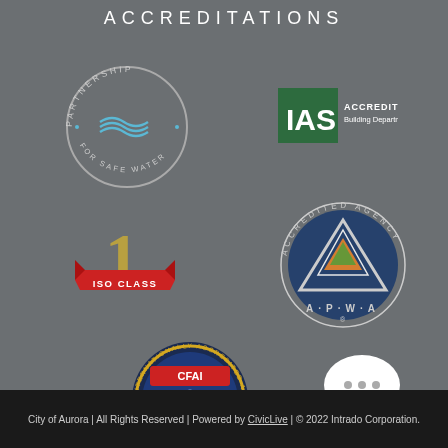ACCREDITATIONS
[Figure (logo): Partnership for Safe Water circular logo with blue water drop/hands design]
[Figure (logo): IAS Accredited Building Department logo — green square with white IAS text]
[Figure (logo): ISO Class 1 fire rating badge — red ribbon with gold number 1]
[Figure (logo): APWA Accredited Agency circular logo with triangular symbol]
[Figure (logo): CFAI Internationally Accredited Agency 2015-2020 circular badge]
[Figure (logo): Live Chat button — white speech bubble with purple circle saying CHAT]
City of Aurora | All Rights Reserved | Powered by CivicLive | © 2022 Intrado Corporation.